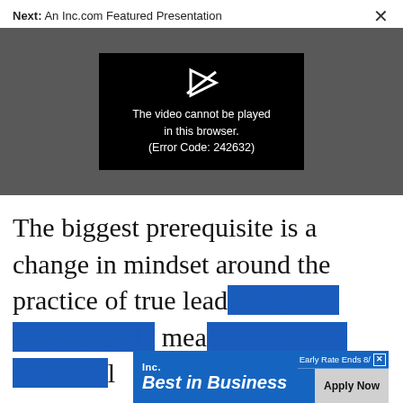Next: An Inc.com Featured Presentation
[Figure (screenshot): Video player showing error message: 'The video cannot be played in this browser. (Error Code: 242632)' on a dark grey background with a black error box and broken play icon.]
The biggest prerequisite is a change in mindset around the practice of true lead... mea...
[Figure (infographic): Inc. Best in Business advertisement banner. Blue background with white text 'Inc.' and 'Best in Business' on the left, 'Early Rate Ends 8/' with close X button on top right, and 'Apply Now' grey button on bottom right.]